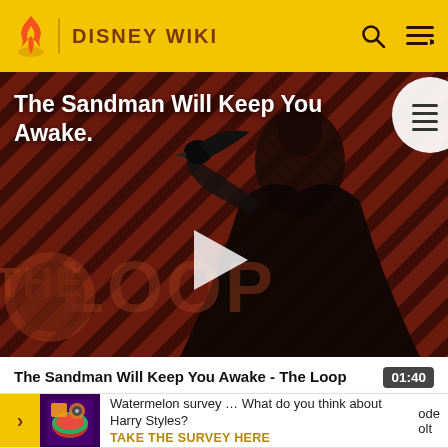DISNEY WIKI
[Figure (screenshot): Video thumbnail showing a dark-cloaked figure (The Sandman character) against a dark diagonal-striped reddish-brown background with 'THE LOOP' logo overlay. A white play button triangle is centered on the image. A table-of-contents icon appears in the upper right corner.]
The Sandman Will Keep You Awake - The Loop
01:40
Watermelon survey … What do you think about Harry Styles? TAKE THE SURVEY HERE